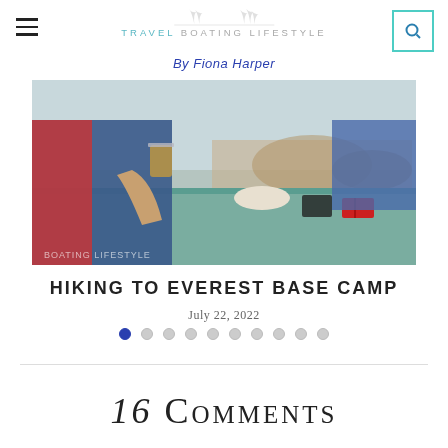TRAVEL BOATING LIFESTYLE — By Fiona Harper
[Figure (photo): A person holding a glass mug of tea outdoors at a table with a teal/green cover, with another person sitting in background among dry brush, items on the table including a bowl and red notebook. Watermarked 'BOATING LIFESTYLE'.]
HIKING TO EVEREST BASE CAMP
July 22, 2022
16 COMMENTS